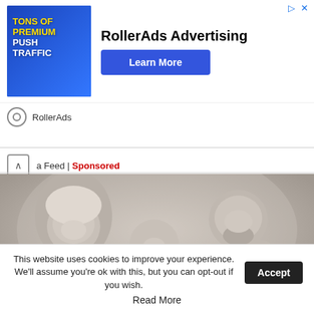[Figure (screenshot): RollerAds advertising banner showing 'TONS OF PREMIUM PUSH TRAFFIC' with a woman graphic and 'Learn More' button]
RollerAds
a Feed | Sponsored
[Figure (photo): Black and white family portrait photo showing a woman, a man with beard, and three children all smiling]
This website uses cookies to improve your experience. We'll assume you're ok with this, but you can opt-out if you wish. Accept Read More